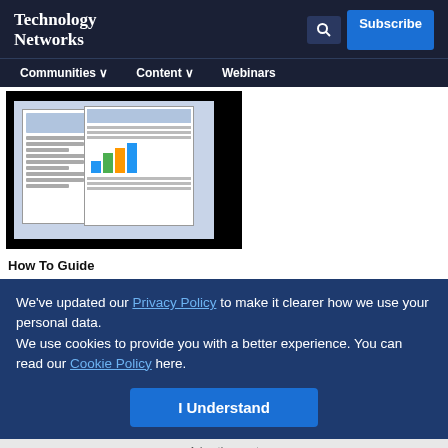Technology Networks
Communities  Content  Webinars
[Figure (screenshot): Thumbnail image of a how-to guide document with bar charts visible]
How To Guide
We've updated our Privacy Policy to make it clearer how we use your personal data.
We use cookies to provide you with a better experience. You can read our Cookie Policy here.
I Understand
Advertisement
[Figure (logo): ThermoFisher Scientific advertisement banner with text: Do you use qPCR and dPCR to develop biologics? Explore now. Applied Biosystems logo.]